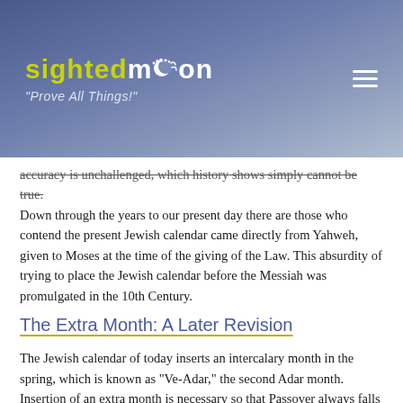sightedmoon "Prove All Things!"
accuracy is unchallenged, which history shows simply cannot be true.
Down through the years to our present day there are those who contend the present Jewish calendar came directly from Yahweh, given to Moses at the time of the giving of the Law. This absurdity of trying to place the Jewish calendar before the Messiah was promulgated in the 10th Century.
The Extra Month: A Later Revision
The Jewish calendar of today inserts an intercalary month in the spring, which is known as "Ve-Adar," the second Adar month. Insertion of an extra month is necessary so that Passover always falls in the spring when the barley crop ripens. If this were not done, the Jewish calendar would be like the Mohammedan which has their holy days rotating through all seasons of the year before returning to their original position every 34 years. However, it was not always the custom to intercalate a month in the spring, as we shall see with the Jewish calendar dated in The